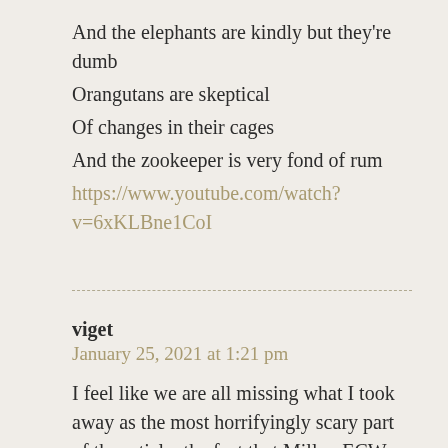And the elephants are kindly but they're dumb
Orangutans are skeptical
Of changes in their cages
And the zookeeper is very fond of rum
https://www.youtube.com/watch?v=6xKLBne1CoI
viget
January 25, 2021 at 1:21 pm

I feel like we are all missing what I took away as the most horrifyingly scary part of the article: the fact that Miller, ECW, and Patel were doing a nuclear security farewell tour a few days before they left. Why then? Is this